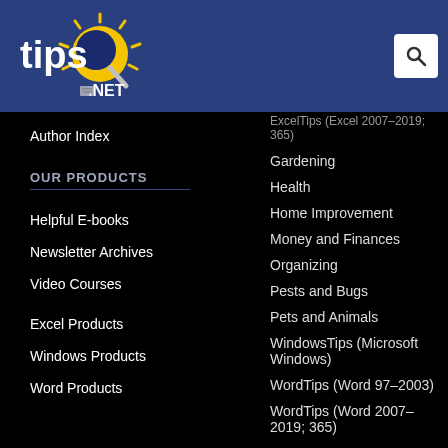[Figure (logo): Tips.net logo with sun/lightbulb icon on blue header bar]
Author Index
OUR PRODUCTS
Helpful E-books
Newsletter Archives
Video Courses
Excel Products
Windows Products
Word Products
ExcelTips (Excel 2007–2019; 365)
Gardening
Health
Home Improvement
Money and Finances
Organizing
Pests and Bugs
Pets and Animals
WindowsTips (Microsoft Windows)
WordTips (Word 97–2003)
WordTips (Word 2007–2019; 365)